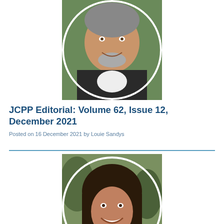[Figure (photo): Circular portrait photo of a smiling middle-aged man with grey beard wearing a dark blazer and white shirt, photographed outdoors with green foliage background]
JCPP Editorial: Volume 62, Issue 12, December 2021
Posted on 16 December 2021 by Louie Sandys
[Figure (photo): Circular portrait photo of a smiling young woman with long dark hair, photographed outdoors with natural background]